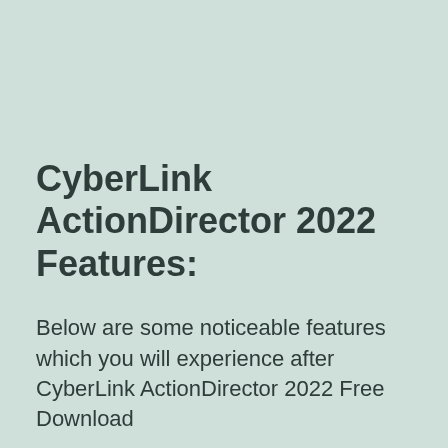CyberLink ActionDirector 2022 Features:
Below are some noticeable features which you will experience after CyberLink ActionDirector 2022 Free Download
Allows you to easily and quickly create action videos from raw footage.